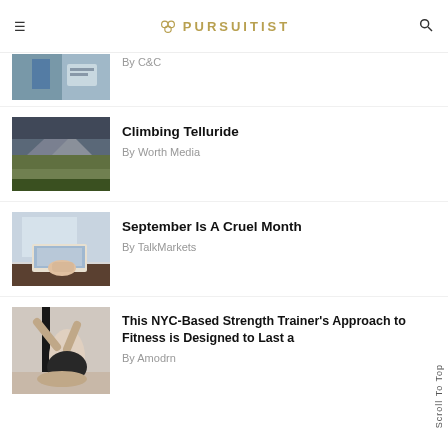PURSUITIST
By C&C
[Figure (photo): Partial photo of a bathroom/interior]
[Figure (photo): Mountain landscape with green fields under dark cloudy sky]
Climbing Telluride
By Worth Media
[Figure (photo): Person using a laptop computer]
September Is A Cruel Month
By TalkMarkets
[Figure (photo): Person exercising/stretching in a gym]
This NYC-Based Strength Trainer's Approach to Fitness is Designed to Last a
By Amodrn